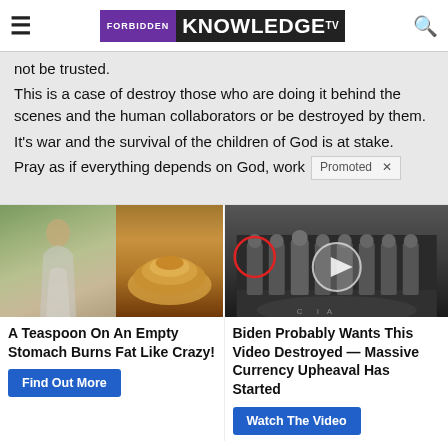FORBIDDEN KNOWLEDGE TV
not be trusted.
This is a case of destroy those who are doing it behind the scenes and the human collaborators or be destroyed by them.
It's war and the survival of the children of God is at stake.
Pray as if everything depends on God, work
[Figure (photo): Left ad: woman with toned stomach on left, pile of yellow spice/turmeric powder on right]
A Teaspoon On An Empty Stomach Burns Fat Like Crazy!
Find Out More
[Figure (photo): Right ad: group of men in suits in front of CIA seal, with video play button overlay, red circle around one figure]
Biden Probably Wants This Video Destroyed — Massive Currency Upheaval Has Started
Watch The Video